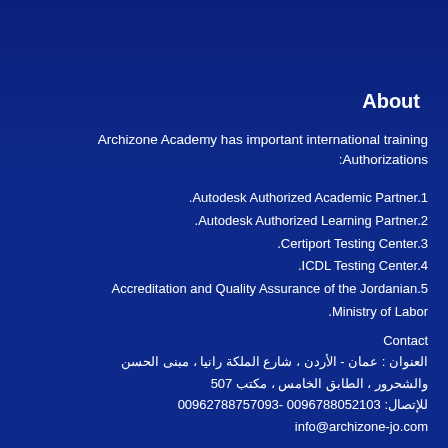About
Archizone Academy has important international training Authorizations:
1. Autodesk Authorized Academic Partner.
2. Autodesk Authorized Learning Partner.
3. Certiport Testing Center.
4. ICDL Testing Center.
5. Accreditation and Quality Assurance of the Jordanian Ministry of Labor.
Contact
العنوان : عمان - الأردن ، شارع الملكة رانيا ، مبنى الحسن والشحرور ، الطابق الخامس ، مكتب 507
للإتصال: 0096788052103 - 00962788757093
info@archizone-jo.com